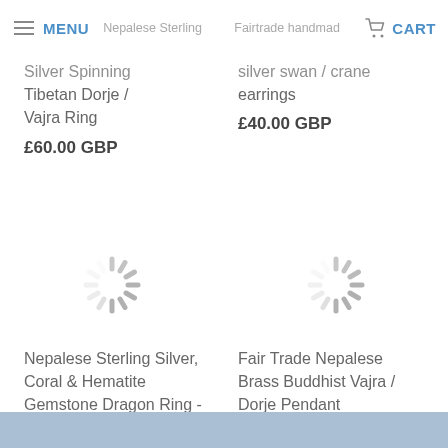MENU | CART
Nepalese Sterling Silver Spinning Tibetan Dorje / Vajra Ring
£60.00 GBP
Fairtrade handmade silver swan / crane earrings
£40.00 GBP
[Figure (illustration): Loading spinner icon (grey radial dashes)]
[Figure (illustration): Loading spinner icon (grey radial dashes)]
Nepalese Sterling Silver, Coral & Hematite Gemstone Dragon Ring - Large
£60.00 GBP
Fair Trade Nepalese Brass Buddhist Vajra / Dorje Pendant
£18.00 GBP